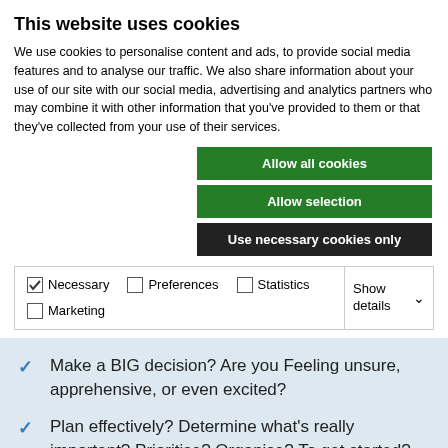This website uses cookies
We use cookies to personalise content and ads, to provide social media features and to analyse our traffic. We also share information about your use of our site with our social media, advertising and analytics partners who may combine it with other information that you've provided to them or that they've collected from your use of their services.
Allow all cookies
Allow selection
Use necessary cookies only
| ✓ Necessary | ☐ Preferences | ☐ Statistics | Show details ∨ |
| ☐ Marketing |  |  |  |
Make a BIG decision? Are you Feeling unsure, apprehensive, or even excited?
Plan effectively? Determine what's really important? Prioritise? Organise? To get started?